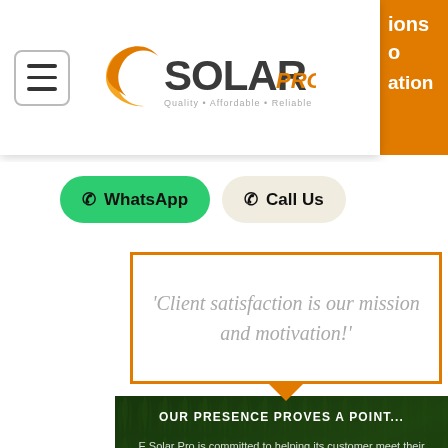[Figure (logo): E Solar Pro logo with orange circular icon and tagline 'Quality • Affordable • Reliable']
WhatsApp
Call Us
'Client satisfaction is our mission and motivation!'
OUR PRESENCE PROVES A POINT...
E Solar Pro is committed to helping its customer meet their objective for their requirements.
We are constantly striving to provide solutions to our customers with our strong sense of identification. We also value and promote seamless interaction with our customers and ensure the best value is